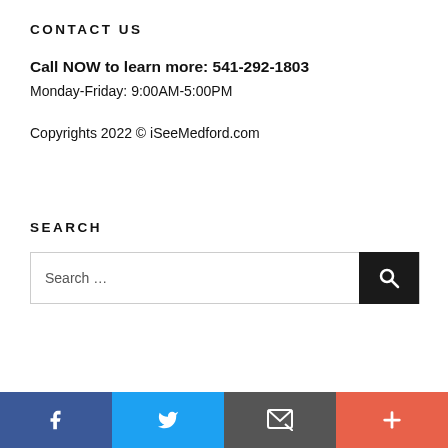CONTACT US
Call NOW to learn more: 541-292-1803
Monday-Friday: 9:00AM-5:00PM
Copyrights 2022 © iSeeMedford.com
SEARCH
[Figure (other): Search input box with search button containing magnifying glass icon]
Social media links: Facebook, Twitter, Email, More (+)